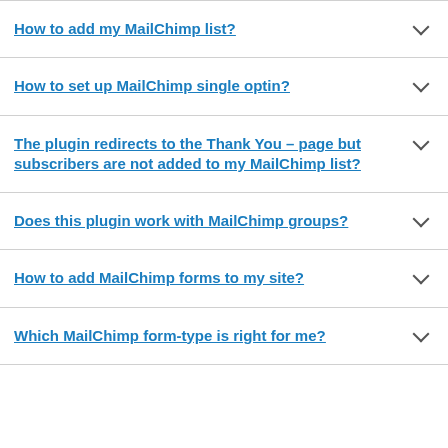How to add my MailChimp list?
How to set up MailChimp single optin?
The plugin redirects to the Thank You – page but subscribers are not added to my MailChimp list?
Does this plugin work with MailChimp groups?
How to add MailChimp forms to my site?
Which MailChimp form-type is right for me?